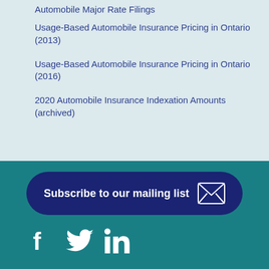Automobile Major Rate Filings
Usage-Based Automobile Insurance Pricing in Ontario (2013)
Usage-Based Automobile Insurance Pricing in Ontario (2016)
2020 Automobile Insurance Indexation Amounts (archived)
Subscribe to our mailing list
[Figure (infographic): Social media icons: Facebook, Twitter, LinkedIn in white on teal background]